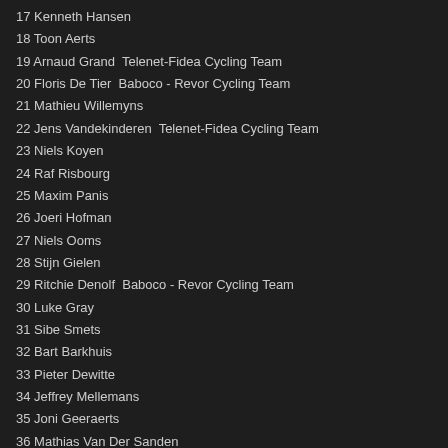17 Kenneth Hansen
18 Toon Aerts
19 Arnaud Grand  Telenet-Fidea Cycling Team
20 Floris De Tier  Baboco - Revor Cycling Team
21 Mathieu Willemyns
22 Jens Vandekinderen  Telenet-Fidea Cycling Team
23 Niels Koyen
24 Raf Risbourg
25 Maxim Panis
26 Joeri Hofman
27 Niels Ooms
28 Stijn Gielen
29 Ritchie Denolf  Baboco - Revor Cycling Team
30 Luke Gray
31 Sibe Smets
32 Bart Barkhuis
33 Pieter Dewitte
34 Jeffrey Mellemans
35 Joni Geeraerts
36 Mathias Van Der Sanden
37 Rutger La Haye
38  Jellen Schiettecatte